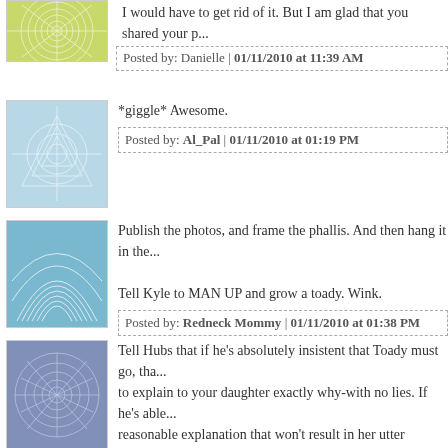I would have to get rid of it. But I am glad that you shared your p...
Posted by: Danielle | 01/11/2010 at 11:39 AM
*giggle* Awesome.
Posted by: Al_Pal | 01/11/2010 at 01:19 PM
Publish the photos, and frame the phallis. And then hang it in the...
Tell Kyle to MAN UP and grow a toady. Wink.
Posted by: Redneck Mommy | 01/11/2010 at 01:38 PM
Tell Hubs that if he's absolutely insistent that Toady must go, tha... to explain to your daughter exactly why-with no lies. If he's able... reasonable explanation that won't result in her utter devastation... more power to him...I've rarely been able to reason w/my 4 year... even putting her Blankie in the washer & just have to endure the...
Posted by: Wicked SteppMom | 01/11/2010 at 03:03 PM
I would consider altering toady some how so that it still has the s...